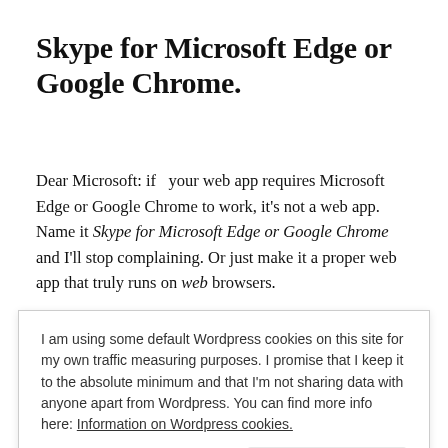Skype for Microsoft Edge or Google Chrome.
Dear Microsoft: if  your web app requires Microsoft Edge or Google Chrome to work, it's not a web app. Name it Skype for Microsoft Edge or Google Chrome and I'll stop complaining. Or just make it a proper web app that truly runs on web browsers.
Web apps that only run on Chrome or Chrome
I am using some default Wordpress cookies on this site for my own traffic measuring purposes. I promise that I keep it to the absolute minimum and that I'm not sharing data with anyone apart from Wordpress. You can find more info here: Information on Wordpress cookies.
Edge or Google Chrome" does not sound as